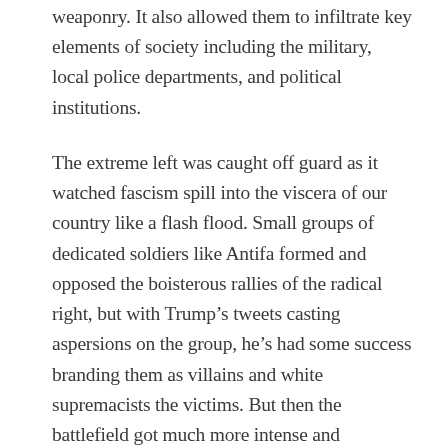weaponry. It also allowed them to infiltrate key elements of society including the military, local police departments, and political institutions.
The extreme left was caught off guard as it watched fascism spill into the viscera of our country like a flash flood. Small groups of dedicated soldiers like Antifa formed and opposed the boisterous rallies of the radical right, but with Trump’s tweets casting aspersions on the group, he’s had some success branding them as villains and white supremacists the victims. But then the battlefield got much more intense and complicated when a police officer in Minneapolis put his knee to George Floyd’s neck,